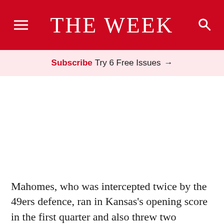THE WEEK
Subscribe Try 6 Free Issues →
Mahomes, who was intercepted twice by the 49ers defence, ran in Kansas's opening score in the first quarter and also threw two touchdowns for 286